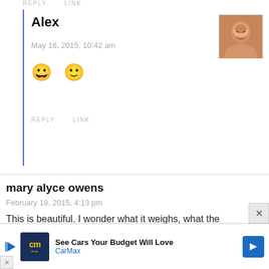REPLY   LINK
Alex
May 16, 2015, 10:42 am
[Figure (illustration): Two smiley face emoji: grinning face and slightly smiling face]
[Figure (photo): Avatar photo of a smiling young man with short hair]
REPLY   LINK
mary alyce owens
February 19, 2015, 4:13 pm
This is beautiful. I wonder what it weighs, what the gross vehicle weight, the trailer, and what kind of truck he is pulling with.
[Figure (infographic): CarMax advertisement banner: 'See Cars Your Budget Will Love' with CarMax logo and blue arrow icon]